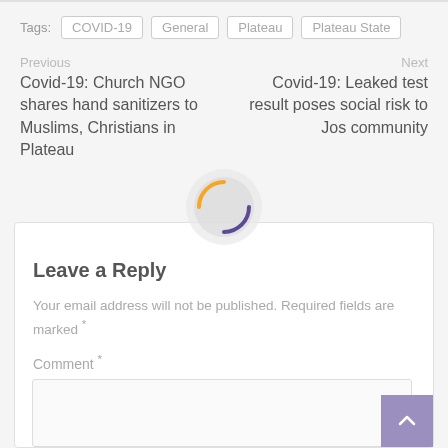Tags: COVID-19  General  Plateau  Plateau State
Previous
Covid-19: Church NGO shares hand sanitizers to Muslims, Christians in Plateau
Next
Covid-19: Leaked test result poses social risk to Jos community
[Figure (illustration): Loading spinner graphic with orange left arc and purple right arc on a light gray circle background]
Leave a Reply
Your email address will not be published. Required fields are marked *
Comment *